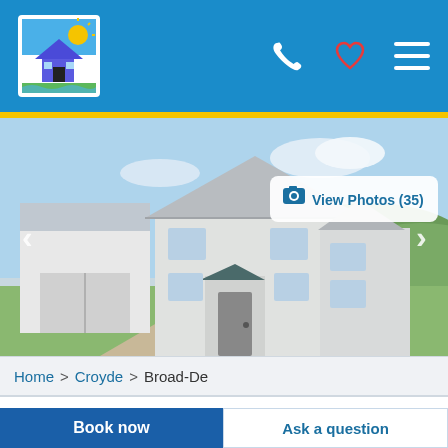Holiday lettings website header with logo, phone, heart/favourite and menu icons
[Figure (photo): Exterior photo of a white two-storey holiday house with grey slate roof, attached garage, gravel driveway, green lawn, and countryside hills in background. Blue sky with light clouds.]
View Photos (35)
Home > Croyde > Broad-De
Check in 10th Feb 2023   Check Out 25th Feb 2023   £3,715
Book now
Ask a question